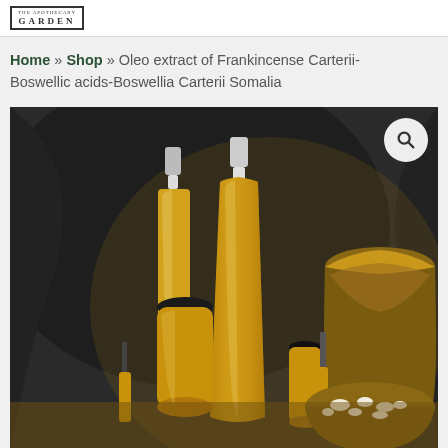GARDEN (logo)
Home » Shop » Oleo extract of Frankincense Carterii-Boswellic acids-Boswellia Carterii Somalia
[Figure (photo): Multiple amber/golden oil bottles of various sizes with spray and dropper tops, arranged with a brass mortar and bowl of frankincense resin on a dark fabric background.]